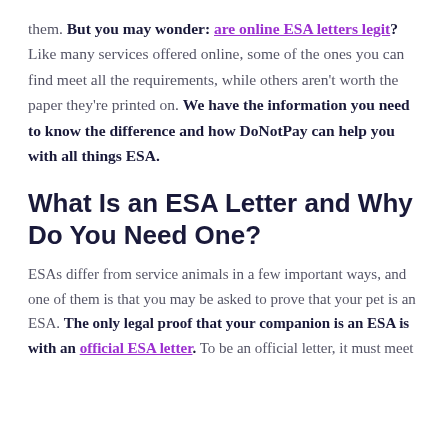them. But you may wonder: are online ESA letters legit? Like many services offered online, some of the ones you can find meet all the requirements, while others aren't worth the paper they're printed on. We have the information you need to know the difference and how DoNotPay can help you with all things ESA.
What Is an ESA Letter and Why Do You Need One?
ESAs differ from service animals in a few important ways, and one of them is that you may be asked to prove that your pet is an ESA. The only legal proof that your companion is an ESA is with an official ESA letter. To be an official letter, it must meet